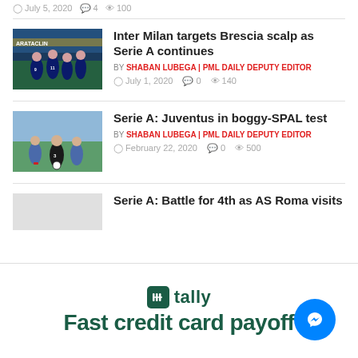July 5, 2020 · 4 · 100
[Figure (photo): Inter Milan football players celebrating on pitch in blue/black kit]
Inter Milan targets Brescia scalp as Serie A continues
BY SHABAN LUBEGA | PML DAILY DEPUTY EDITOR
July 1, 2020  0  140
[Figure (photo): Juventus player in black/white kit dribbling against SPAL opponents]
Serie A: Juventus in boggy-SPAL test
BY SHABAN LUBEGA | PML DAILY DEPUTY EDITOR
February 22, 2020  0  500
Serie A: Battle for 4th as AS Roma visits
[Figure (infographic): Tally app advertisement - Fast credit card payoff]